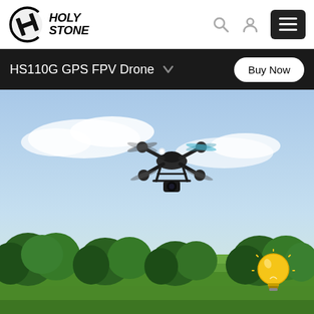[Figure (logo): Holy Stone logo with stylized H icon and italic bold text]
HS110G GPS FPV Drone
[Figure (photo): Black quadcopter drone flying in a blue sky above a green park with trees, with a lightbulb emoji overlay in the bottom right]